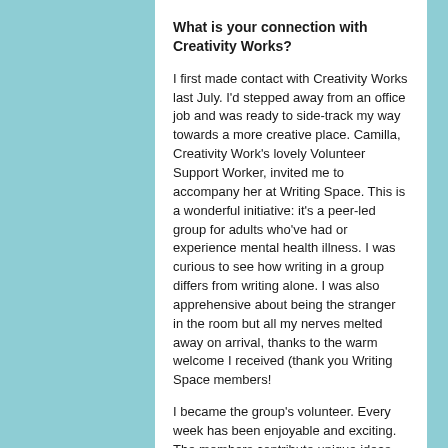What is your connection with Creativity Works?
I first made contact with Creativity Works last July. I'd stepped away from an office job and was ready to side-track my way towards a more creative place. Camilla, Creativity Work's lovely Volunteer Support Worker, invited me to accompany her at Writing Space. This is a wonderful initiative: it's a peer-led group for adults who've had or experience mental health illness. I was curious to see how writing in a group differs from writing alone. I was also apprehensive about being the stranger in the room but all my nerves melted away on arrival, thanks to the warm welcome I received (thank you Writing Space members!
I became the group's volunteer. Every week has been enjoyable and exciting. The members contribute unique ideas and bring inspiration to use as writing prompts, such as mystery objects, nature finds, a book of …